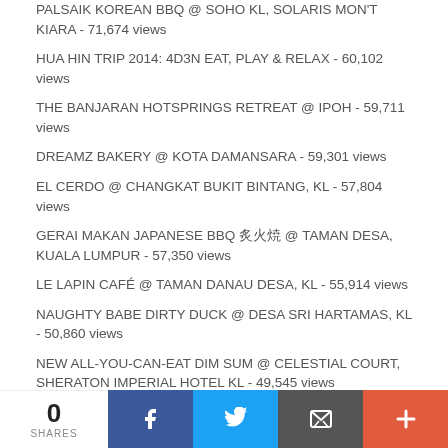PALSAIK KOREAN BBQ @ SOHO KL, SOLARIS MON'T KIARA - 71,674 views
HUA HIN TRIP 2014: 4D3N EAT, PLAY & RELAX - 60,102 views
THE BANJARAN HOTSPRINGS RETREAT @ IPOH - 59,711 views
DREAMZ BAKERY @ KOTA DAMANSARA - 59,301 views
EL CERDO @ CHANGKAT BUKIT BINTANG, KL - 57,804 views
GERAI MAKAN JAPANESE BBQ 炭火焼 @ TAMAN DESA, KUALA LUMPUR - 57,350 views
LE LAPIN CAFÉ @ TAMAN DANAU DESA, KL - 55,914 views
NAUGHTY BABE DIRTY DUCK @ DESA SRI HARTAMAS, KL - 50,860 views
NEW ALL-YOU-CAN-EAT DIM SUM @ CELESTIAL COURT, SHERATON IMPERIAL HOTEL KL - 49,545 views
AFTERNOON TEA @ THIRTY8, GRAND HYATT KUALA LUMPUR - 47,432 views
THE TOKYO RESTAURANT @ 4F THE TABLE, ISETAN THE JAPAN STORE KL - 44,468 views
0 SHARES | Facebook | Twitter | Email | More